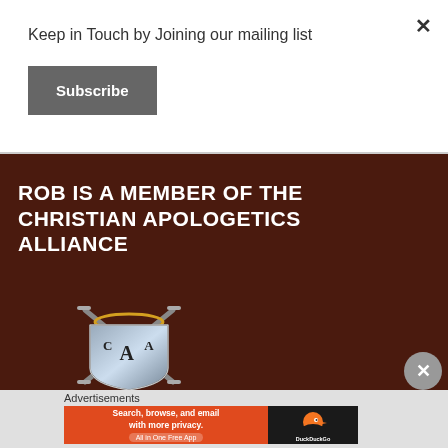Keep in Touch by Joining our mailing list
Subscribe
×
ROB IS A MEMBER OF THE CHRISTIAN APOLOGETICS ALLIANCE
[Figure (logo): Christian Apologetics Alliance shield logo with crossed swords and CAA letters]
×
Advertisements
[Figure (screenshot): DuckDuckGo advertisement banner: Search, browse, and email with more privacy. All in One Free App. DuckDuckGo logo on right.]